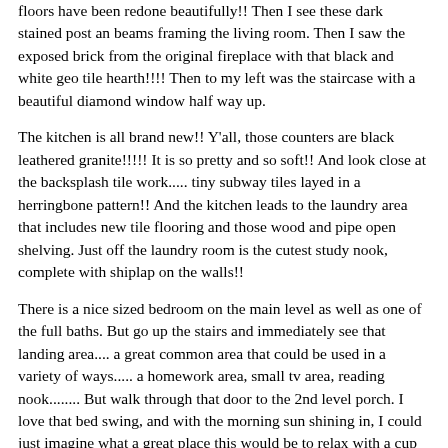floors have been redone beautifully!! Then I see these dark stained post an beams framing the living room. Then I saw the exposed brick from the original fireplace with that black and white geo tile hearth!!!! Then to my left was the staircase with a beautiful diamond window half way up.
The kitchen is all brand new!! Y'all, those counters are black leathered granite!!!!! It is so pretty and so soft!! And look close at the backsplash tile work..... tiny subway tiles layed in a herringbone pattern!! And the kitchen leads to the laundry area that includes new tile flooring and those wood and pipe open shelving. Just off the laundry room is the cutest study nook, complete with shiplap on the walls!!
There is a nice sized bedroom on the main level as well as one of the full baths. But go up the stairs and immediately see that landing area.... a great common area that could be used in a variety of ways..... a homework area, small tv area, reading nook........ But walk through that door to the 2nd level porch. I love that bed swing, and with the morning sun shining in, I could just imagine what a great place this would be to relax with a cup of coffee and my Bible before starting each day.
Now..... for the glory!! Take a look at that master suite!!!! More exposed brick and gorgeous light streaming in. There's a beautiful sliding door in front of the bathroom. And oh that bathroom!!!!